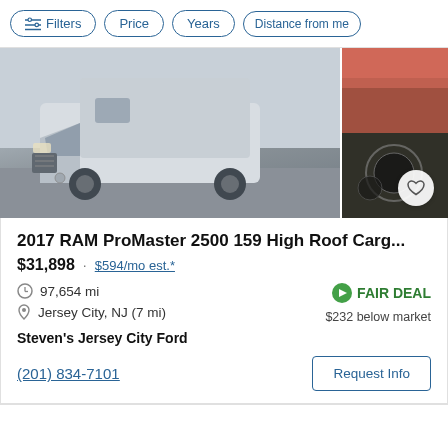Filters  Price  Years  Distance from me
[Figure (photo): 2017 RAM ProMaster 2500 cargo van, silver/white, front 3/4 view, with interior detail photo inset on right side]
2017 RAM ProMaster 2500 159 High Roof Carg...
$31,898 · $594/mo est.*
97,654 mi
FAIR DEAL
$232 below market
Jersey City, NJ (7 mi)
Steven's Jersey City Ford
(201) 834-7101
Request Info